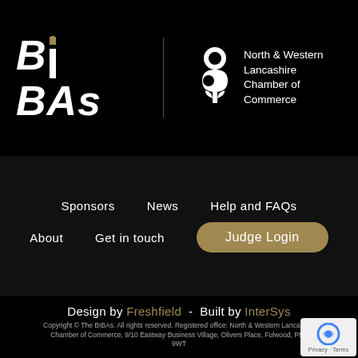[Figure (logo): BIBAs logo in large bold italic white text with gold accent on the letter I, alongside North & Western Lancashire Chamber of Commerce logo with white stylized B/flower icon and text]
Sponsors
News
Help and FAQs
About
Get in touch
Judge Login
Design by Freshfield  -  Built by InterSys
Copyright © The BIBAs. All rights reserved. Registered office: North & Western Lancashire Chamber of Commerce, 9/10 Eastway Business Village, Olivers Place, Fulwood, PR2 9WT